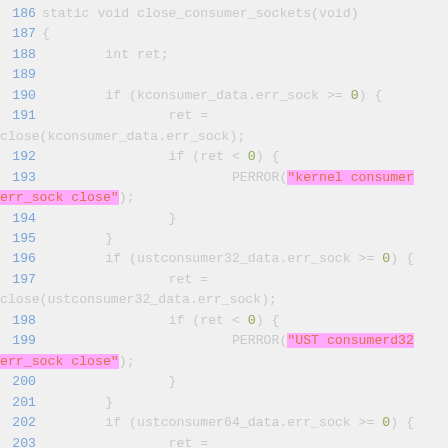[Figure (screenshot): Source code listing lines 186-205 showing C function close_consumer_sockets with syntax highlighting. Line numbers in blue, keywords in white/gray, string literals highlighted in pink/magenta background with orange text, numeric literals in green.]